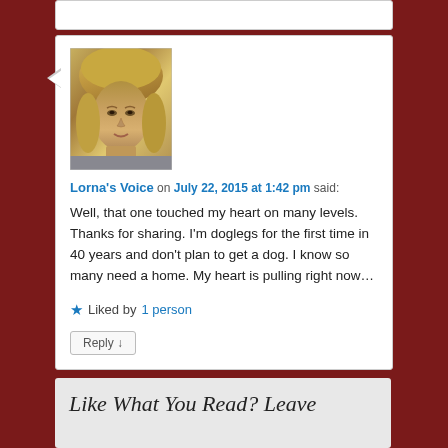[Figure (photo): Avatar photo of a blonde woman]
Lorna's Voice on July 22, 2015 at 1:42 pm said:
Well, that one touched my heart on many levels. Thanks for sharing. I'm doglegs for the first time in 40 years and don't plan to get a dog. I know so many need a home. My heart is pulling right now…
★ Liked by 1 person
Reply ↓
Like What You Read? Leave